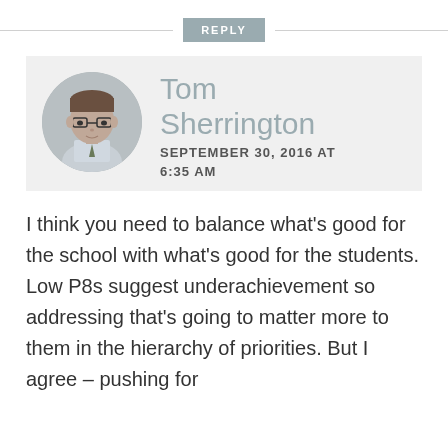REPLY
Tom Sherrington
SEPTEMBER 30, 2016 AT 6:35 AM
[Figure (photo): Circular avatar photo of Tom Sherrington, a man wearing glasses and a tie]
I think you need to balance what's good for the school with what's good for the students. Low P8s suggest underachievement so addressing that's going to matter more to them in the hierarchy of priorities. But I agree – pushing for